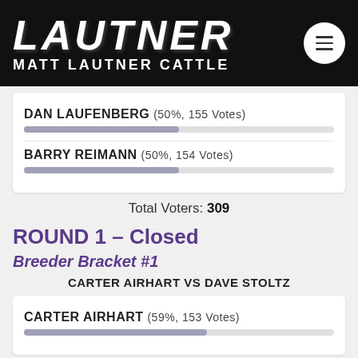[Figure (logo): Matt Lautner Cattle logo — large italic bold white LAUTNER text with MATT LAUTNER CATTLE subtitle on black background, hamburger menu button on right]
DAN LAUFENBERG (50%, 155 Votes)
BARRY REIMANN (50%, 154 Votes)
Total Voters: 309
ROUND 1 – Closed
Breeder Bracket #1
CARTER AIRHART VS DAVE STOLTZ
CARTER AIRHART (59%, 153 Votes)